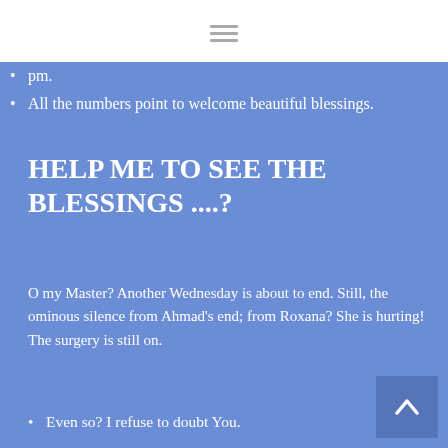[Figure (other): Hamburger menu icon (three horizontal lines) in white header bar]
pm.
All the numbers point to welcome beautiful blessings.
HELP ME TO SEE THE BLESSINGS ....?
O my Master? Another Wednesday is about to end. Still, the ominous silence from Ahmad's end; from Roxana? She is hurting! The surgery is still on.
Even so? I refuse to doubt You.
I know You are blessing us even when I do not see